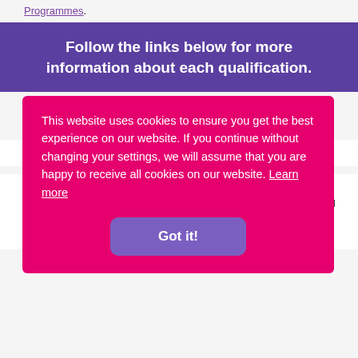Programmes.
Follow the links below for more information about each qualification.
Qualification Approval
In order to deliver this qualification, centres must apply to the
Ofqual/awarding body for approved status. Once approved, the centre will be bound
by the relevant terms and conditions of the awarding body.
This website uses cookies to ensure you get the best experience on our website. If you continue without changing your settings, we will assume that you are happy to receive all cookies on our website. Learn more
Got it!